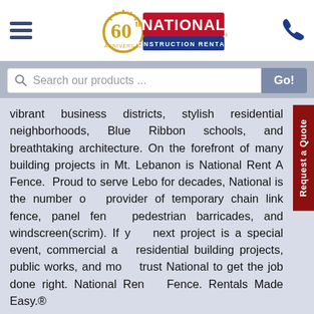[Figure (logo): 60th Anniversary National Construction Rentals logo with hamburger menu and phone icon]
Search our products ...
vibrant business districts, stylish residential neighborhoods, Blue Ribbon schools, and breathtaking architecture. On the forefront of many building projects in Mt. Lebanon is National Rent A Fence. Proud to serve Lebo for decades, National is the number one provider of temporary chain link fence, panel fence, pedestrian barricades, and windscreen(scrim). If your next project is a special event, commercial and residential building projects, public works, and more, trust National to get the job done right. National Rent A Fence. Rentals Made Easy.®
Chain Link Fencing
Affordable Security